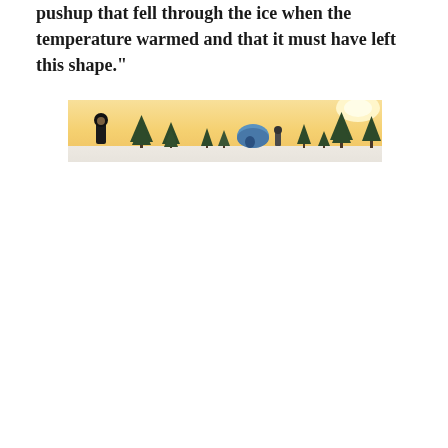pushup that fell through the ice when the temperature warmed and that it must have left this shape."
[Figure (photo): A wide panoramic photo of a frozen lake scene in winter. Two figures and a blue tent/shelter are visible on the snow-covered ice, surrounded by sparse conifer trees silhouetted against a warm golden sky near sunset or sunrise.]